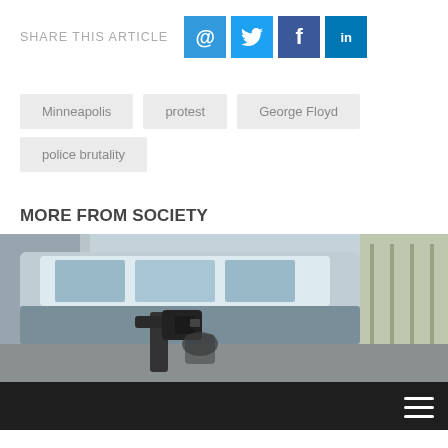SHARE THIS ARTICLE
[Figure (infographic): Social share buttons: email (@), Twitter, Facebook, LinkedIn]
Minneapolis
protest
George Floyd
police brutality
MORE FROM SOCIETY
[Figure (photo): Photo of a vehicle and camera equipment on street, with a dark bottom navigation bar showing a hamburger menu icon]